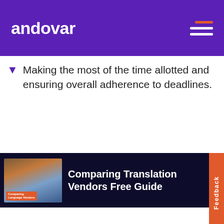andovar
Making the most of the time allotted and ensuring overall adherence to deadlines.
[Figure (screenshot): Comparing Translation Vendors Free Guide promotional banner with book cover image on dark navy background]
This website stores cookies on your computer. These cookies are used to collect information about how you interact with our website and allow us to remember you. We use this information in order to improve and customize your browsing experience and for analytics and metrics about our visitors both on this website and other media. To find out more about the cookies we use, see our Privacy Policy.
Accept